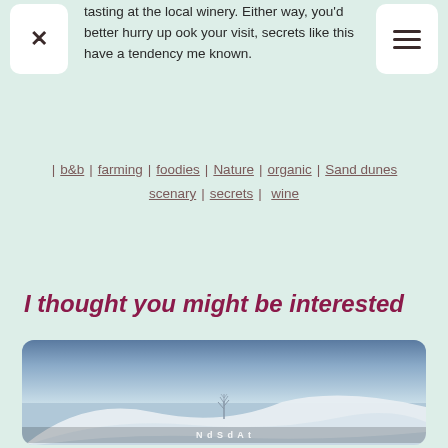tasting at the local winery. Either way, you'd better hurry up ook your visit, secrets like this have a tendency me known.
b&b | farming | foodies | Nature | organic | Sand dunes | scenary | secrets | wine
I thought you might be interested
[Figure (photo): A misty landscape with white sand dunes under a blue-grey sky, with a bare tree silhouette in the center foreground. Text overlay at the bottom is partially visible.]